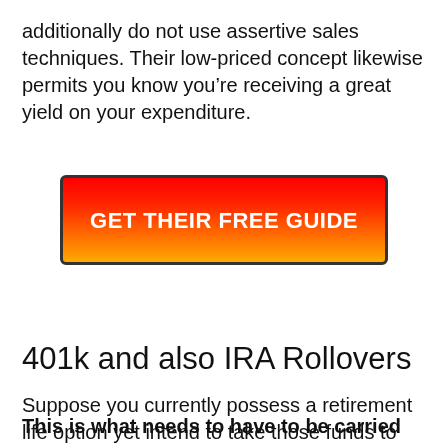additionally do not use assertive sales techniques. Their low-priced concept likewise permits you know you’re receiving a great yield on your expenditure.
[Figure (other): Red to orange/yellow gradient button with bold white text reading GET THEIR FREE GUIDE, surrounded by a dark border]
401k and also IRA Rollovers
Suppose you currently possess a retirement life option yet intend to take those funds to your metals IRA? It’s certainly not as well hard to create the transactions.
This is what needs to have to be carried